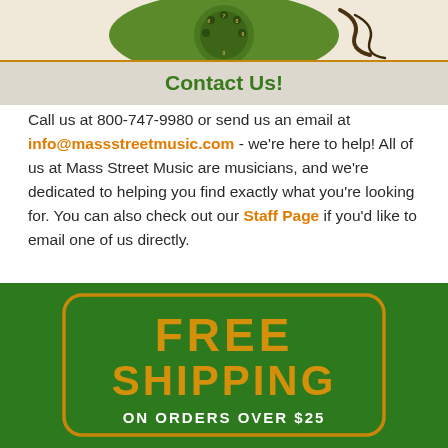[Figure (photo): Green rotary telephone on a peach/cream background with a decorative music note cord, partial view]
Contact Us!
Call us at 800-747-9980 or send us an email at info@massstreetmusic.com - we’re here to help! All of us at Mass Street Music are musicians, and we’re dedicated to helping you find exactly what you’re looking for. You can also check out our Staff Page if you’d like to email one of us directly.
[Figure (infographic): Green banner with gold/orange bordered box containing text: FREE SHIPPING ON ORDERS OVER $25]